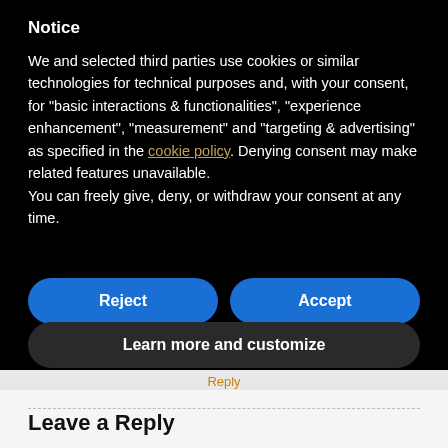Notice
We and selected third parties use cookies or similar technologies for technical purposes and, with your consent, for “basic interactions & functionalities”, “experience enhancement”, “measurement” and “targeting & advertising” as specified in the cookie policy. Denying consent may make related features unavailable.
You can freely give, deny, or withdraw your consent at any time.
Reject
Accept
Learn more and customize
Reply
Leave a Reply